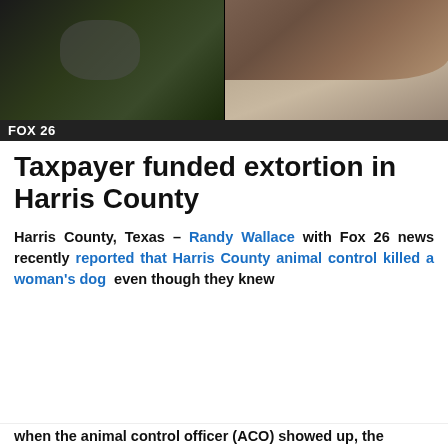[Figure (photo): Two photos side by side: left shows a dark-colored dog on a leash outdoors, right shows a brown dog on a leash sniffing the ground on light-colored pavement.]
[Figure (logo): FOX 26 logo on dark bar]
Taxpayer funded extortion in Harris County
Harris County, Texas – Randy Wallace with Fox 26 news recently reported that Harris County animal control killed a woman's dog  even though they knew
Privacy & Cookies: This site uses cookies. By continuing to use this website, you agree to their use.
To find out more, including how to control cookies, see here: Cookie Policy
[Close and accept]
when the animal control officer (ACO) showed up, the